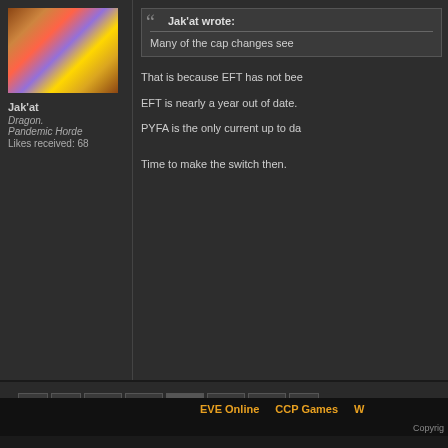[Figure (photo): Avatar image of forum user Jak'at, wearing a colorful scarf]
Jak'at
Dragon.
Pandemic Horde
Likes received: 68
Jak'at wrote:
Many of the cap changes see
That is because EFT has not bee
EFT is nearly a year out of date.
PYFA is the only current up to da
Time to make the switch then.
158  159  160  161  162
EVE Online   CCP Games   W
Copyrig